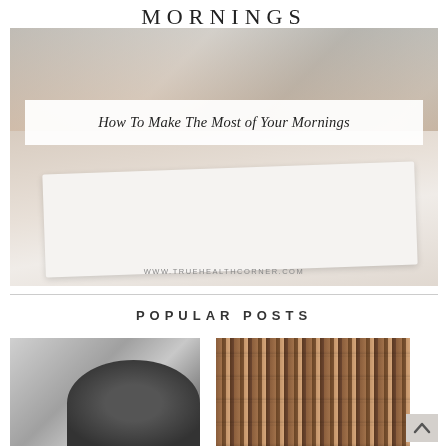MORNINGS
[Figure (photo): Close-up photo of hands with grey painted nails writing in a notebook, wearing a cozy pink knit sweater, on a dark table surface. URL watermark: WWW.TRUEHEALTHCORNER.COM]
How To Make The Most of Your Mornings
POPULAR POSTS
[Figure (photo): Thumbnail photo of a person with dark hair from behind, possibly in a kitchen or gym setting with equipment visible]
[Figure (photo): Thumbnail photo of wooden/rustic textured shelving or crates with a worn, weathered appearance]